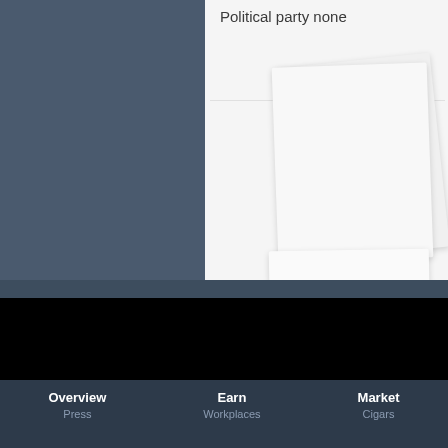Political party none
[Figure (illustration): Stacked white cards/panels arranged in a fan-like overlapping pattern on a light gray background]
[Figure (photo): Dark blue-gray left panel, likely containing a photo or dark background image]
Overview  Earn  Market
Press  Workplaces  Cigars